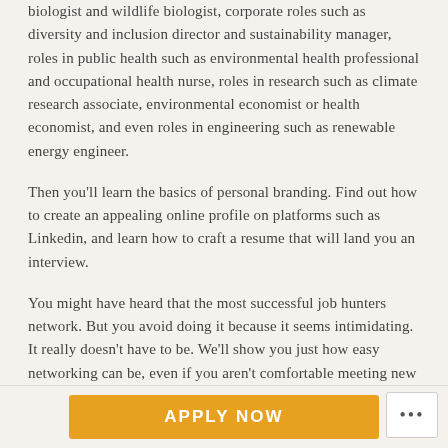biologist and wildlife biologist, corporate roles such as diversity and inclusion director and sustainability manager, roles in public health such as environmental health professional and occupational health nurse, roles in research such as climate research associate, environmental economist or health economist, and even roles in engineering such as renewable energy engineer.
Then you'll learn the basics of personal branding. Find out how to create an appealing online profile on platforms such as Linkedin, and learn how to craft a resume that will land you an interview.
You might have heard that the most successful job hunters network. But you avoid doing it because it seems intimidating. It really doesn't have to be. We'll show you just how easy networking can be, even if you aren't comfortable meeting new people face-to-face. You'll learn how to network with the specific purpose of
APPLY NOW